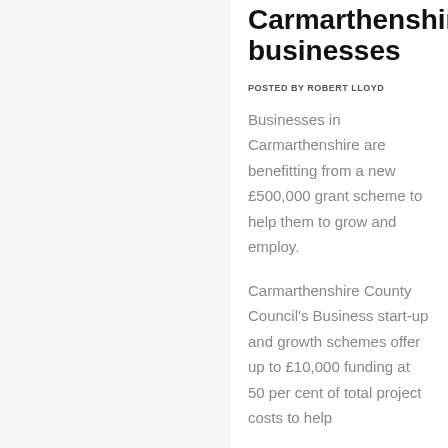Carmarthenshire businesses
POSTED BY ROBERT LLOYD
Businesses in Carmarthenshire are benefitting from a new £500,000 grant scheme to help them to grow and employ.
Carmarthenshire County Council's Business start-up and growth schemes offer up to £10,000 funding at 50 per cent of total project costs to help